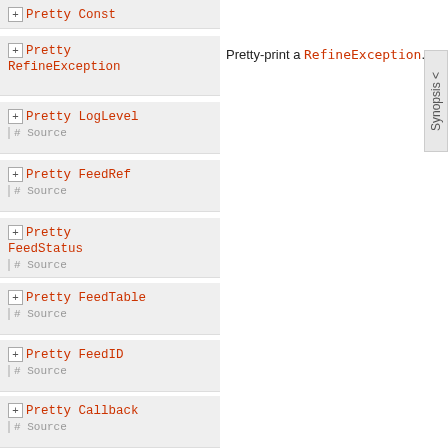[+] Pretty Const
[+] Pretty RefineException
Pretty-print a RefineException.
[+] Pretty LogLevel | # Source
[+] Pretty FeedRef | # Source
[+] Pretty FeedStatus | # Source
[+] Pretty FeedTable | # Source
[+] Pretty FeedID | # Source
[+] Pretty Callback | # Source
[+] Pretty a => Pretty [a]
>>> pretty [1,2,3]
[1, 2, 3]
[+] Pretty a => Pretty (Maybe a)
Ignore Nothings, print Just contents.